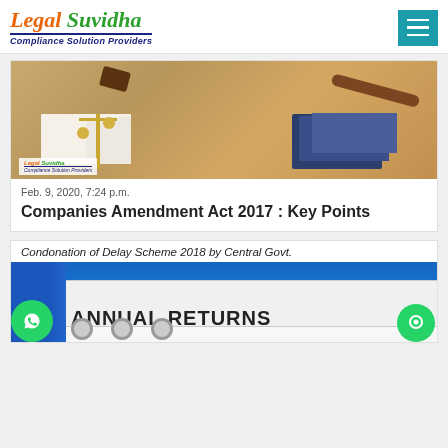[Figure (logo): Legal Suvidha - Compliance Solution Providers logo with orange 'Legal' and green 'Suvidha' italic text, dark blue underline tagline]
[Figure (photo): Photo of legal books, gavel, and scales of justice on a wooden desk, with Legal Suvidha watermark logo in bottom left]
Feb. 9, 2020, 7:24 p.m.
Companies Amendment Act 2017 : Key Points
Condonation of Delay Scheme 2018 by Central Govt.
[Figure (photo): Photo of blue binder/folder with white label reading ANNUAL RETURNS in bold black text, with binder rings at the bottom]